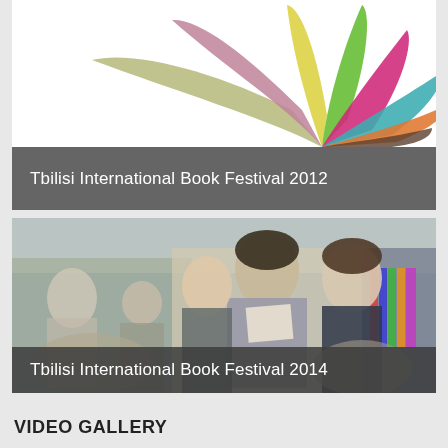[Figure (illustration): Tbilisi International Book Festival 2012 card with colorful fan/leaf logo on white background and dark gray bar with title text]
Tbilisi International Book Festival 2012
[Figure (photo): Tbilisi International Book Festival 2014 - photo of people browsing books at a book fair exhibition hall]
Tbilisi International Book Festival 2014
VIDEO GALLERY